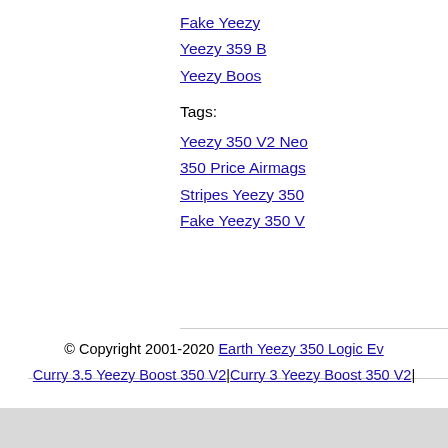Fake Yeezy
Yeezy 359 B
Yeezy Boos
Tags:
Yeezy 350 V2 Neo
350 Price Airmags
Stripes Yeezy 350
Fake Yeezy 350 V
© Copyright 2001-2020 Earth Yeezy 350 Logic Ev Curry 3.5 Yeezy Boost 350 V2|Curry 3 Yeezy Boost 350 V2|